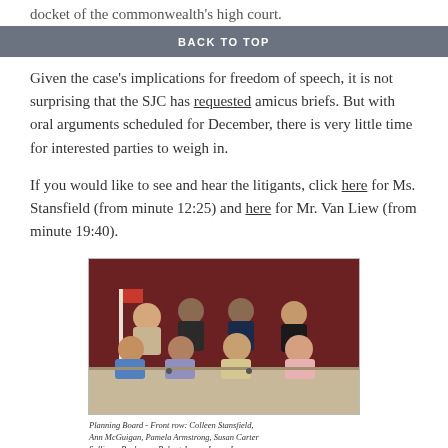docket of the commonwealth's high court.
BACK TO TOP
Given the case's implications for freedom of speech, it is not surprising that the SJC has requested amicus briefs. But with oral arguments scheduled for December, there is very little time for interested parties to weigh in.
If you would like to see and hear the litigants, click here for Ms. Stansfield (from minute 12:25) and here for Mr. Van Liew (from minute 19:40).
[Figure (photo): Group photo of Planning Board members seated in two rows at a conference table in front of dark red curtains. Four men stand in the back row, four women sit in the front row.]
Planning Board - Front row: Colleen Stansfield, Ann McGuigan, Pamela Armstrong, Susan Carter Sullivan, Back row: Robert Jones, James Lowe...